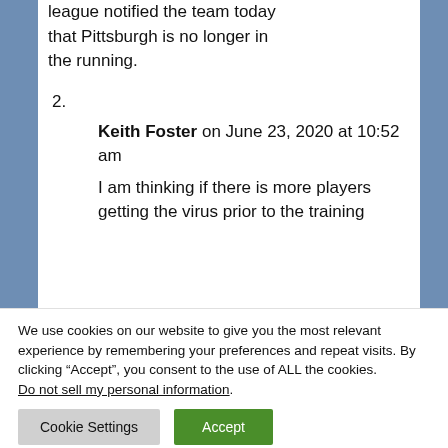league notified the team today that Pittsburgh is no longer in the running.
2.
Keith Foster on June 23, 2020 at 10:52 am
I am thinking if there is more players getting the virus prior to the training
We use cookies on our website to give you the most relevant experience by remembering your preferences and repeat visits. By clicking “Accept”, you consent to the use of ALL the cookies. Do not sell my personal information.
Cookie Settings  Accept